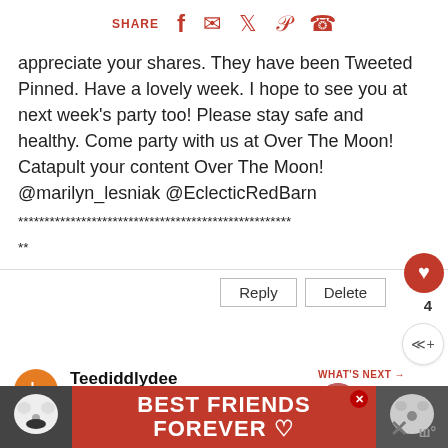SHARE [facebook] [email] [twitter] [pinterest] [whatsapp]
appreciate your shares. They have been Tweeted Pinned. Have a lovely week. I hope to see you at next week's party too! Please stay safe and healthy. Come party with us at Over The Moon! Catapult your content Over The Moon! @marilyn_lesniak @EclecticRedBarn
****************************************************
**
Teediddlydee
April 2, 2021 at 1:33:00 AM MDT
These are super cute, Marie! You are so
[Figure (photo): Advertisement banner: two cats (black-and-white and black) with text 'BEST FRIENDS FOREVER' on red background with heart symbols]